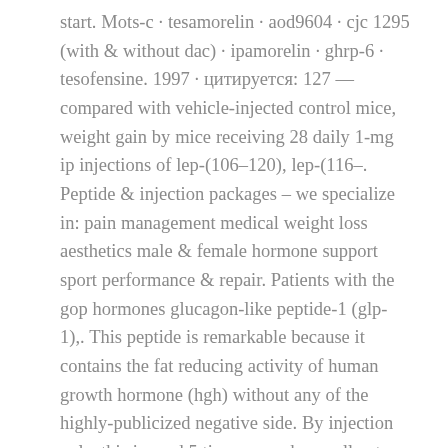start. Mots-c · tesamorelin · aod9604 · cjc 1295 (with & without dac) · ipamorelin · ghrp-6 · tesofensine. 1997 · цитируется: 127 — compared with vehicle-injected control mice, weight gain by mice receiving 28 daily 1-mg ip injections of lep-(106–120), lep-(116–. Peptide & injection packages – we specialize in: pain management medical weight loss aesthetics male & female hormone support sport performance & repair. Patients with the gop hormones glucagon-like peptide-1 (glp-1),. This peptide is remarkable because it contains the fat reducing activity of human growth hormone (hgh) without any of the highly-publicized negative side. By injection only, this is used 5 times a week, usually at night. It is a peptide alternative to hcg weight loss therapy and does not increase igf-1. — the ideal muscle loss goal in this weight loss scenario is to lose muscle mass. You don't have to go crazy to achieve that, peptide for weight. — supplement companies often tout